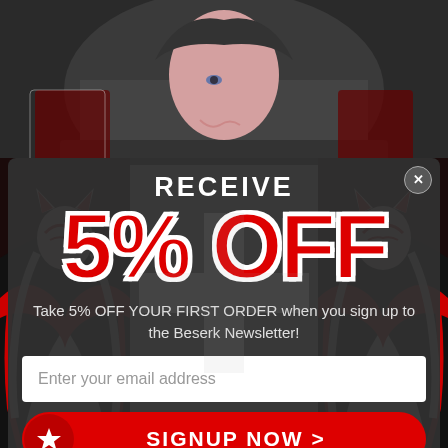[Figure (illustration): Background showing a person wearing a dark beanie hat with tattoo artwork visible, top portion of the image]
[Figure (illustration): Left and right panels showing anime-style kitsune/fox mask geisha figures in red, white and black with flowing robes and ribbons]
RECEIVE
5% OFF
Take 5% OFF YOUR FIRST ORDER when you sign up to the Beserk Newsletter!
Enter your email address
SIGNUP NOW >